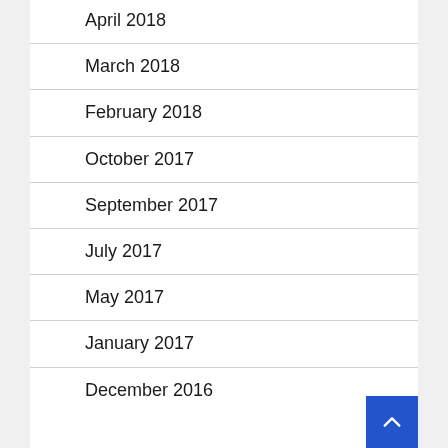April 2018
March 2018
February 2018
October 2017
September 2017
July 2017
May 2017
January 2017
December 2016